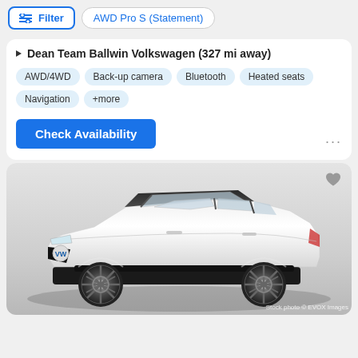Filter | AWD Pro S (Statement)
▼ Dean Team Ballwin Volkswagen (327 mi away)
AWD/4WD
Back-up camera
Bluetooth
Heated seats
Navigation
+more
Check Availability
[Figure (photo): White Volkswagen ID.4 SUV, front three-quarter view on a light grey gradient background. Stock photo © EVOX Images watermark visible at bottom right.]